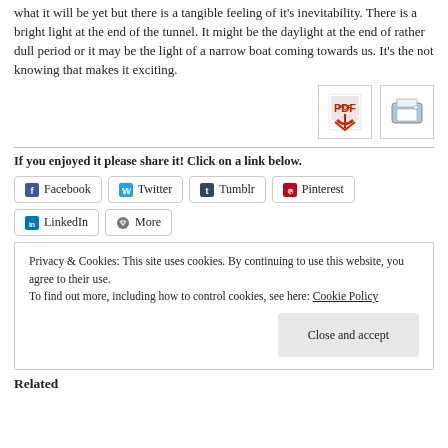what it will be yet but there is a tangible feeling of it's inevitability. There is a bright light at the end of the tunnel. It might be the daylight at the end of rather dull period or it may be the light of a narrow boat coming towards us. It's the not knowing that makes it exciting.
[Figure (other): PDF icon button and print icon button]
If you enjoyed it please share it! Click on a link below.
Facebook
Twitter
Tumblr
Pinterest
LinkedIn
More
Privacy & Cookies: This site uses cookies. By continuing to use this website, you agree to their use. To find out more, including how to control cookies, see here: Cookie Policy
Close and accept
Related